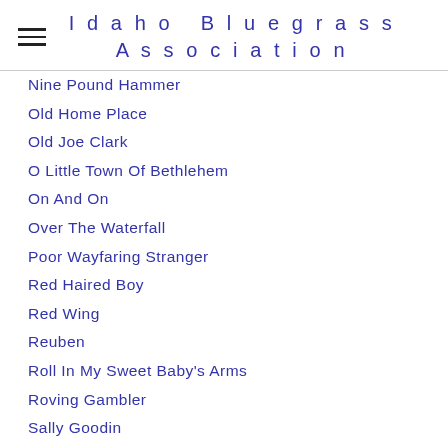Idaho Bluegrass Association
Nine Pound Hammer
Old Home Place
Old Joe Clark
O Little Town Of Bethlehem
On And On
Over The Waterfall
Poor Wayfaring Stranger
Red Haired Boy
Red Wing
Reuben
Roll In My Sweet Baby's Arms
Roving Gambler
Sally Goodin
Salty Dog Blues
Shuckin' The Corn
Steel Rails
Turkey In The Straw
Well Meet Again Sweetheart…